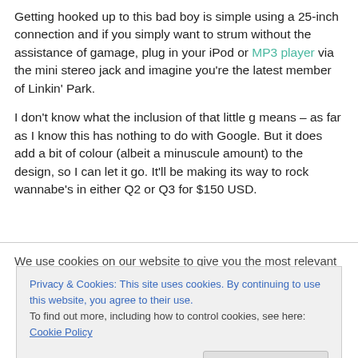Getting hooked up to this bad boy is simple using a 25-inch connection and if you simply want to strum without the assistance of gamage, plug in your iPod or MP3 player via the mini stereo jack and imagine you're the latest member of Linkin' Park.
I don't know what the inclusion of that little g means – as far as I know this has nothing to do with Google. But it does add a bit of colour (albeit a minuscule amount) to the design, so I can let it go. It'll be making its way to rock wannabe's in either Q2 or Q3 for $150 USD.
We use cookies on our website to give you the most relevant
Privacy & Cookies: This site uses cookies. By continuing to use this website, you agree to their use. To find out more, including how to control cookies, see here: Cookie Policy